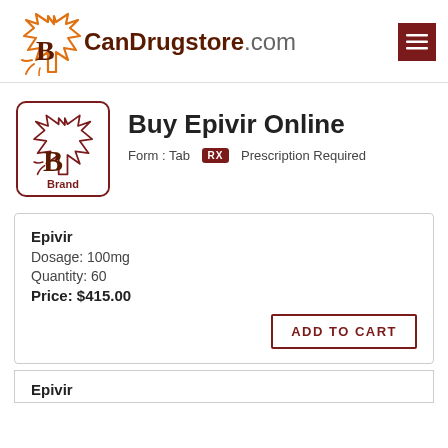[Figure (logo): CanDrugstore.com logo with orange/brown maple leaf icon and text]
Buy Epivir Online
Form : Tablet   RX Prescription Required
| Epivir |  |
| Dosage: 100mg |  |
| Quantity: 60 |  |
| Price: $415.00 | ADD TO CART |
Epivir